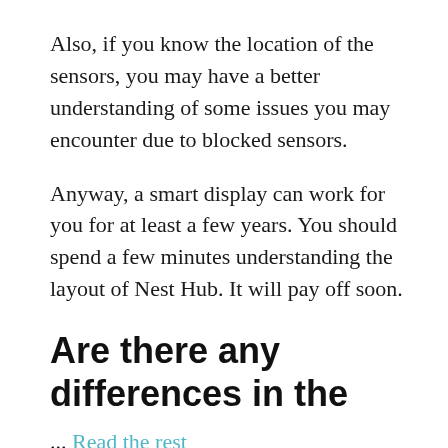Also, if you know the location of the sensors, you may have a better understanding of some issues you may encounter due to blocked sensors.
Anyway, a smart display can work for you for at least a few years. You should spend a few minutes understanding the layout of Nest Hub. It will pay off soon.
Are there any differences in the
... Read the rest
Filed Under: Nest Hub
Tagged With: Ambient IQ, factory data reset,